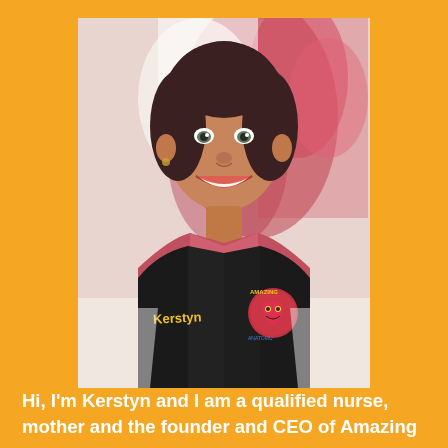[Figure (photo): Portrait photo of a smiling woman named Kerstyn wearing a black vest/uniform with 'Kerstyn' embroidered in yellow on one side and an 'Amazing' logo patch on the other side. She has dark shoulder-length hair, is wearing a pink top underneath, and is standing in front of a colorful abstract painted background in reds and pinks.]
Hi, I'm Kerstyn and I am a qualified nurse, mother and the founder and CEO of Amazing